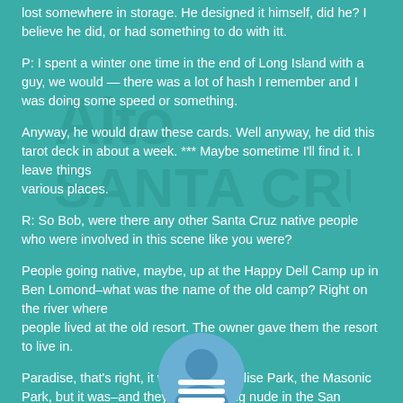lost somewhere in storage. He designed it himself, did he? I believe he did, or had something to do with itt.
P: I spent a winter one time in the end of Long Island with a guy, we would — there was a lot of hash I remember and I was doing some speed or something.
Anyway, he would draw these cards. Well anyway, he did this tarot deck in about a week. *** Maybe sometime I'll find it. I leave things various places.
R: So Bob, were there any other Santa Cruz native people who were involved in this scene like you were?
People going native, maybe, up at the Happy Dell Camp up in Ben Lomond–what was the name of the old camp? Right on the river where people lived at the old resort. The owner gave them the resort to live in.
Paradise, that's right, it was. Not Paradise Park, the Masonic Park, but it was–and they went bathing nude in the San Lorenzo and apparently neighbors complained, and Locatelli was on the Board of Supervisors at that time, of San Lorenzo District, and they forced the